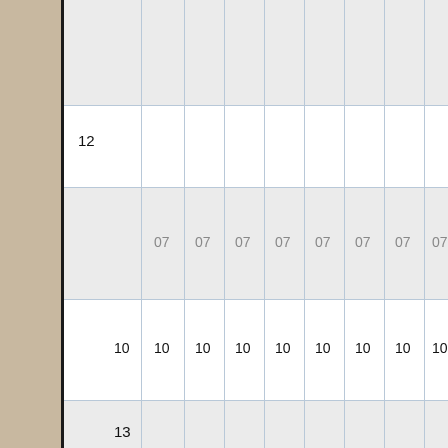| 12 |  | 07 | 07 | 07 | 07 | 07 | 07 | 07 | 07 |
|  | 10 | 10 | 10 | 10 | 10 | 10 | 10 | 10 | 10 |
| 13 |  |  |  |  |  |  |  |  |  |